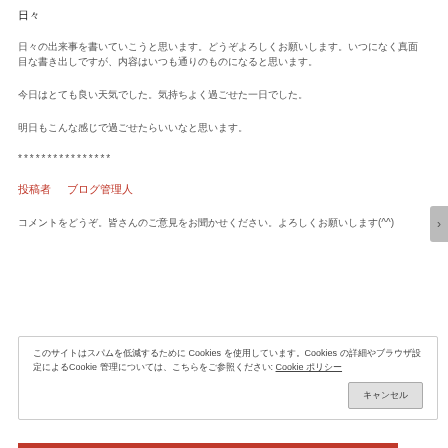日々
日々の出来事を書いていこうと思います。どうぞよろしくお願いします。いつになく真面目な書き出しですが、内容はいつも通りのものになると思います。
今日はとても良い天気でした。気持ちよく過ごせた一日でした。
明日もこんな感じで過ごせたらいいなと思います。
****************
投稿者　ブログ管理人
コメントをどうぞ。皆さんのご意見をお聞かせください。よろしくお願いします(^^)
このサイトはスパムを低減するために Cookies を使用しています。Cookies の詳細やブラウザ設定によるCookie 管理については、こちらをご参照ください: Cookie ポリシー
キャンセル